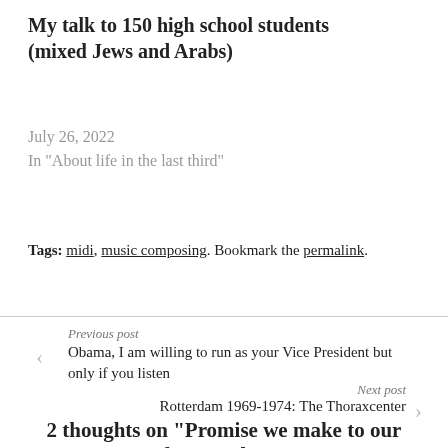My talk to 150 high school students (mixed Jews and Arabs)
July 26, 2022
In "About life in the last third"
Tags: midi, music composing. Bookmark the permalink.
Previous post
Obama, I am willing to run as your Vice President but only if you listen
Next post
Rotterdam 1969-1974: The Thoraxcenter
2 thoughts on “Promise we make to our future selves”